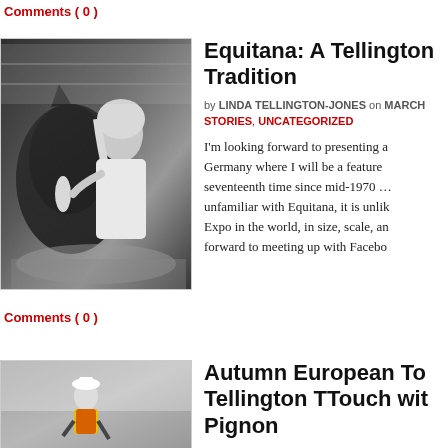Comments ( 0 )
[Figure (photo): Black and white photo of a woman (Linda Tellington-Jones) crouching next to a dark horse, touching its face]
Equitana: A Tellington Tradition
by LINDA TELLINGTON-JONES on MARCH
STORIES, UNCATEGORIZED
I'm looking forward to presenting at Germany where I will be a feature seventeenth time since mid-1970 unfamiliar with Equitana, it is unlik Expo in the world, in size, scale, an forward to meeting up with Facebo
Comments ( 0 )
[Figure (photo): Color photo of a person in outdoor equestrian setting]
Autumn European To Tellington TTouch wit Pignon